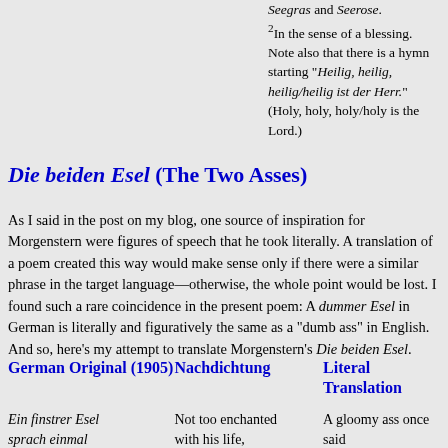Seegras and Seerose. 2In the sense of a blessing. Note also that there is a hymn starting "Heilig, heilig, heilig/heilig ist der Herr." (Holy, holy, holy/holy is the Lord.)
Die beiden Esel (The Two Asses)
As I said in the post on my blog, one source of inspiration for Morgenstern were figures of speech that he took literally. A translation of a poem created this way would make sense only if there were a similar phrase in the target language—otherwise, the whole point would be lost. I found such a rare coincidence in the present poem: A dummer Esel in German is literally and figuratively the same as a "dumb ass" in English. And so, here's my attempt to translate Morgenstern's Die beiden Esel.
German Original (1905)
Nachdichtung
Literal Translation
Ein finstrer Esel sprach einmal zu seinem ehlichen Gemahl:
Not too enchanted with his life, an ass once told his lawful wife,
A gloomy ass once said to his lawful spouse, "I am so dumb, you